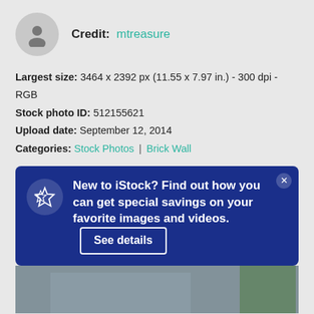Credit: mtreasure
Largest size: 3464 x 2392 px (11.55 x 7.97 in.) - 300 dpi - RGB
Stock photo ID: 512155621
Upload date: September 12, 2014
Categories: Stock Photos | Brick Wall
[Figure (infographic): Dark blue promotional banner with star icon reading 'New to iStock? Find out how you can get special savings on your favorite images and videos.' with a 'See details' button]
[Figure (photo): Thumbnail strip showing partial photo of a person near a brick wall]
$33 | 3 credits
Continue with purchase